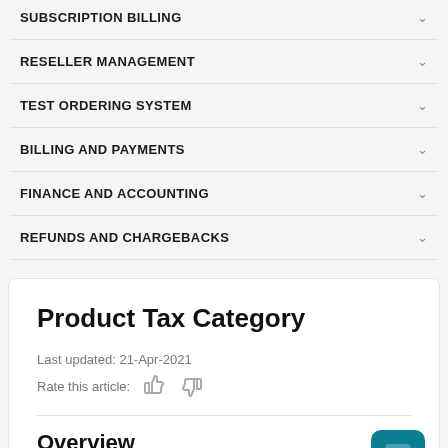SUBSCRIPTION BILLING
RESELLER MANAGEMENT
TEST ORDERING SYSTEM
BILLING AND PAYMENTS
FINANCE AND ACCOUNTING
REFUNDS AND CHARGEBACKS
Product Tax Category
Last updated: 21-Apr-2021
Rate this article:
Overview